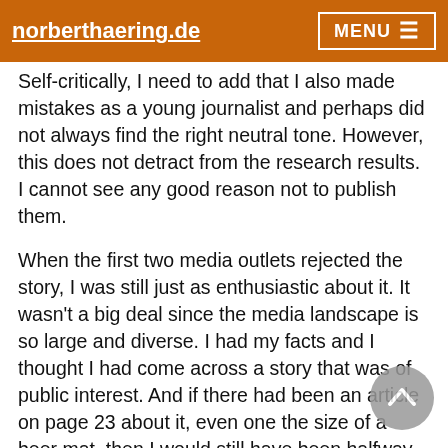norberthaering.de | MENU
Self-critically, I need to add that I also made mistakes as a young journalist and perhaps did not always find the right neutral tone. However, this does not detract from the research results. I cannot see any good reason not to publish them.
When the first two media outlets rejected the story, I was still just as enthusiastic about it. It wasn't a big deal since the media landscape is so large and diverse. I had my facts and I thought I had come across a story that was of public interest. And if there had been an article on page 23 about it, even one the size of a beer mat, then I would still have been halfway satisfied.
I made contact with the investigative teams at large editorial offices and quickly had top journalists on the phone who seemed interested